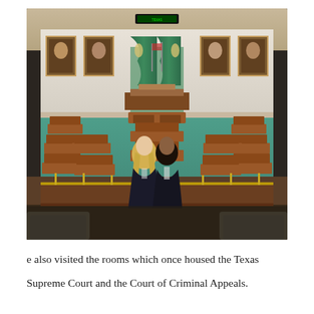[Figure (photo): Two women, one with long blonde hair and one with dark hair, both wearing dark blazers, pose together inside a grand legislative chamber with teal carpet, rows of wooden desks, large portrait paintings on the walls, and an ornate speaker's podium with green drapery in the background. The photo is taken from an elevated viewpoint.]
e also visited the rooms which once housed the Texas Supreme Court and the Court of Criminal Appeals.